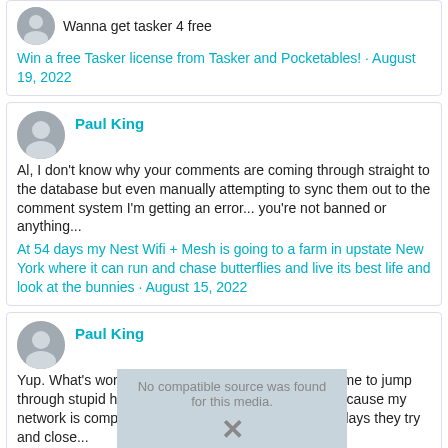Wanna get tasker 4 free
Win a free Tasker license from Tasker and Pocketables! · August 19, 2022
Paul King
Al, I don't know why your comments are coming through straight to the database but even manually attempting to sync them out to the comment system I'm getting an error... you're not banned or anything...
At 54 days my Nest Wifi + Mesh is going to a farm in upstate New York where it can run and chase butterflies and live its best life and look at the bunnies · August 15, 2022
Paul King
Yup. What's worse is the support keeps trying to get me to jump through stupid hoops and keeps saying maybe it's because my network is complex. It's not complex. Then at seven days they try and close...
[Figure (other): Media placeholder with text 'No compatible source was found for this media.' and an X icon]